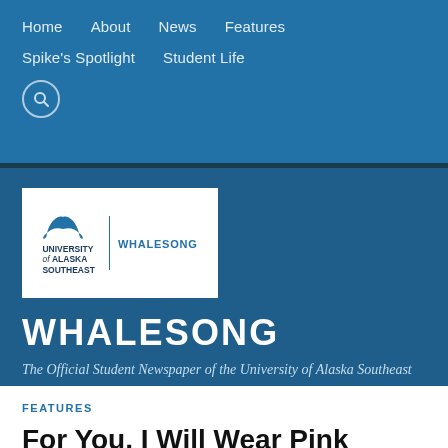Home   About   News   Features   Spike's Spotlight   Student Life
[Figure (logo): University of Alaska Southeast Whalesong logo — whale tail icon above text 'UNIVERSITY of ALASKA SOUTHEAST' with vertical divider and 'WHALESONG' to the right]
WHALESONG
The Official Student Newspaper of the University of Alaska Southeast
FEATURES
For You, I Will Wear Pink